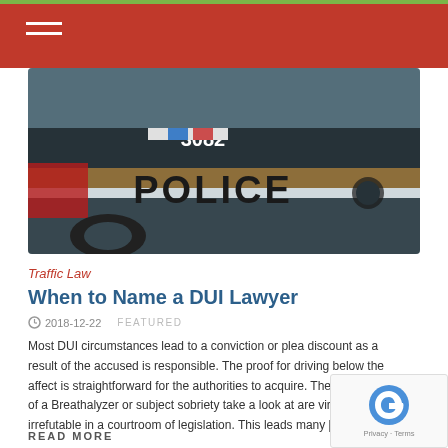[Figure (photo): Police car with 'POLICE' text visible on the side, number 3082, with red and gold stripe]
Traffic Law
When to Name a DUI Lawyer
2018-12-22   FEATURED
Most DUI circumstances lead to a conviction or plea discount as a result of the accused is responsible. The proof for driving below the affect is straightforward for the authorities to acquire. The outcomes of a Breathalyzer or subject sobriety take a look at are virtually irrefutable in a courtroom of legislation. This leads many [...]
READ MORE